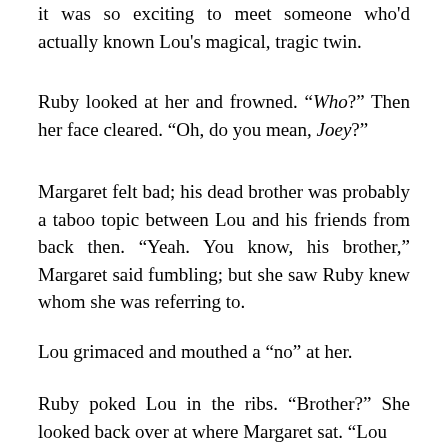it was so exciting to meet someone who'd actually known Lou's magical, tragic twin.
Ruby looked at her and frowned. “Who?” Then her face cleared. “Oh, do you mean, Joey?”
Margaret felt bad; his dead brother was probably a taboo topic between Lou and his friends from back then. “Yeah. You know, his brother,” Margaret said fumbling; but she saw Ruby knew whom she was referring to.
Lou grimaced and mouthed a “no” at her.
Ruby poked Lou in the ribs. “Brother?” She looked back over at where Margaret sat. “Lou